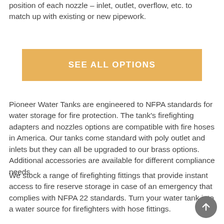position of each nozzle – inlet, outlet, overflow, etc. to match up with existing or new pipework.
[Figure (other): Gold/yellow rectangular button labeled SEE ALL OPTIONS in white bold uppercase text]
Pioneer Water Tanks are engineered to NFPA standards for water storage for fire protection. The tank's firefighting adapters and nozzles options are compatible with fire hoses in America. Our tanks come standard with poly outlet and inlets but they can all be upgraded to our brass options. Additional accessories are available for different compliance needs.
We stock a range of firefighting fittings that provide instant access to fire reserve storage in case of an emergency that complies with NFPA 22 standards. Turn your water tank into a water source for firefighters with hose fittings.